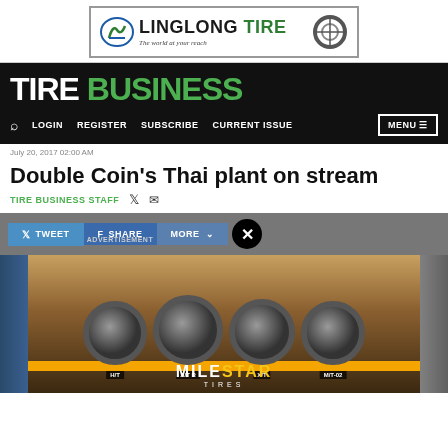[Figure (logo): LingLong Tire advertisement banner with logo and tagline 'The world at your reach']
TIRE BUSINESS
LOGIN   REGISTER   SUBSCRIBE   CURRENT ISSUE   MENU
July 20, 2017 02:00 AM
Double Coin's Thai plant on stream
TIRE BUSINESS STAFF
[Figure (screenshot): Social sharing bar with TWEET, SHARE, MORE buttons and ADVERTISEMENT label, overlaid on Milestar Tires advertisement showing four tires (H/T, A/T R, X/T, M/T-02) with the Milestar Tires logo at the bottom]